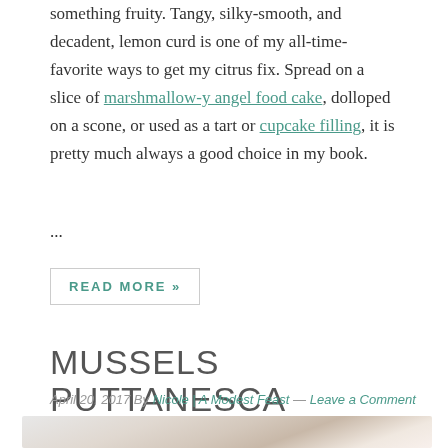something fruity. Tangy, silky-smooth, and decadent, lemon curd is one of my all-time-favorite ways to get my citrus fix. Spread on a slice of marshmallow-y angel food cake, dolloped on a scone, or used as a tart or cupcake filling, it is pretty much always a good choice in my book.
...
READ MORE »
MUSSELS PUTTANESCA
April 20, 2017 By Nicole | A Modest Feast — Leave a Comment
[Figure (photo): Close-up photo of mussels in a white bowl, soft focus with warm tones]